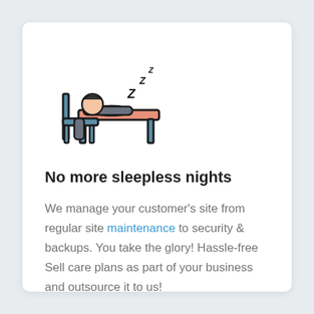[Figure (illustration): Icon of a person slumped asleep at a desk with Z letters floating above indicating sleep/snoring]
No more sleepless nights
We manage your customer's site from regular site maintenance to security & backups. You take the glory! Hassle-free Sell care plans as part of your business and outsource it to us!